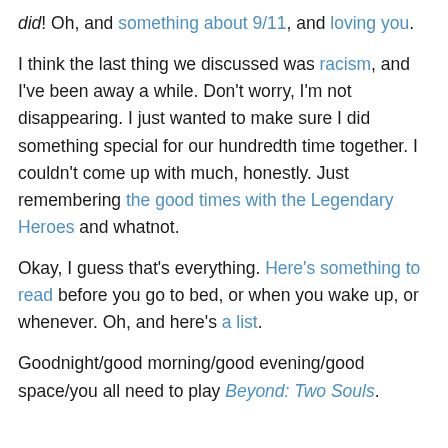did! Oh, and something about 9/11, and loving you.
I think the last thing we discussed was racism, and I've been away a while. Don't worry, I'm not disappearing. I just wanted to make sure I did something special for our hundredth time together. I couldn't come up with much, honestly. Just remembering the good times with the Legendary Heroes and whatnot.
Okay, I guess that's everything. Here's something to read before you go to bed, or when you wake up, or whenever. Oh, and here's a list.
Goodnight/good morning/good evening/good space/you all need to play Beyond: Two Souls.